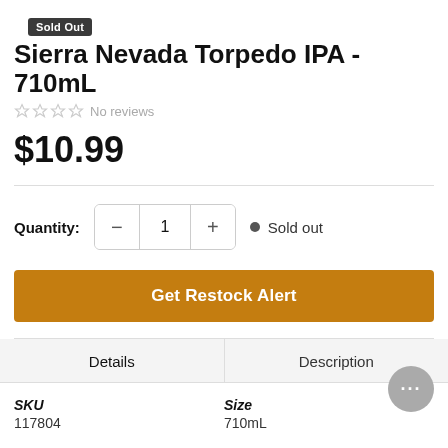Sold Out
Sierra Nevada Torpedo IPA - 710mL
No reviews
$10.99
Quantity: 1  Sold out
Get Restock Alert
Details
Description
SKU 117804
Size 710ml